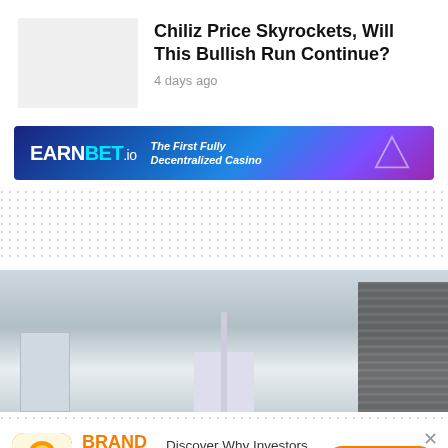[Figure (photo): Gray placeholder thumbnail for article image]
Chiliz Price Skyrockets, Will This Bullish Run Continue?
4 days ago
[Figure (photo): EarnBet.io banner ad — The First Fully Decentralized Casino]
[Figure (photo): Dotted pattern separator area]
[Figure (photo): City skyline image with skyscrapers]
[Figure (photo): Dotted separator line]
[Figure (photo): Brand New Crypto ad — Discover Why Investors are Flocking to this New Crypto — Read More button]